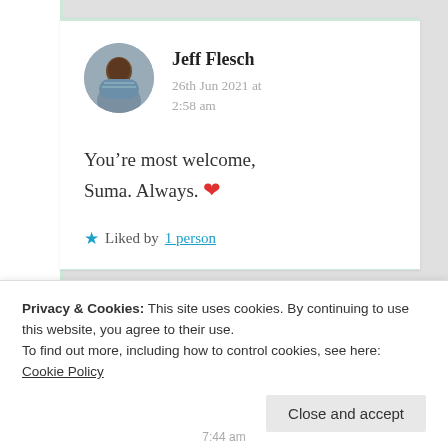Jeff Flesch
26th Jun 2021 at 2:58 am
You’re most welcome, Suma. Always. ❤
★ Liked by 1 person
Privacy & Cookies: This site uses cookies. By continuing to use this website, you agree to their use.
To find out more, including how to control cookies, see here: Cookie Policy
Close and accept
7:44 am